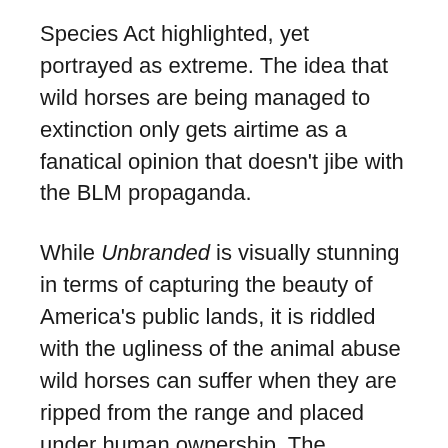Species Act highlighted, yet portrayed as extreme. The idea that wild horses are being managed to extinction only gets airtime as a fanatical opinion that doesn't jibe with the BLM propaganda.
While Unbranded is visually stunning in terms of capturing the beauty of America's public lands, it is riddled with the ugliness of the animal abuse wild horses can suffer when they are ripped from the range and placed under human ownership. The message viewers are left with is that wild horses exist to be